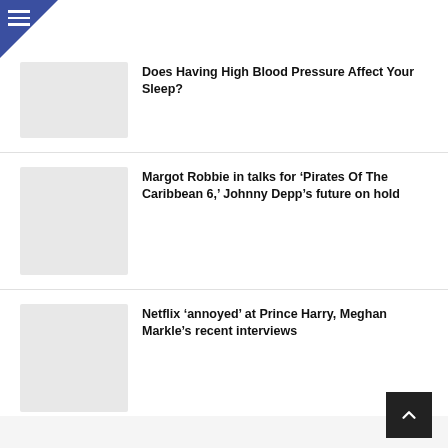[Figure (other): Navigation menu hamburger icon in blue triangle corner]
Does Having High Blood Pressure Affect Your Sleep?
Margot Robbie in talks for ‘Pirates Of The Caribbean 6,’ Johnny Depp’s future on hold
Netflix ‘annoyed’ at Prince Harry, Meghan Markle’s recent interviews
Kim Kardashian Reveals What Makes Being With Pete Davidson ‘Sweeter And More Fun’